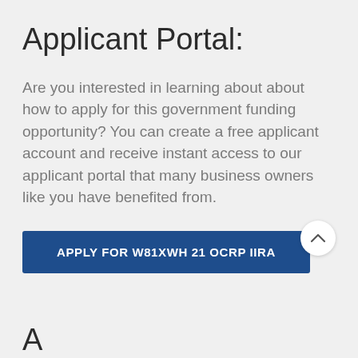Applicant Portal:
Are you interested in learning about about how to apply for this government funding opportunity? You can create a free applicant account and receive instant access to our applicant portal that many business owners like you have benefited from.
APPLY FOR W81XWH 21 OCRP IIRA
A